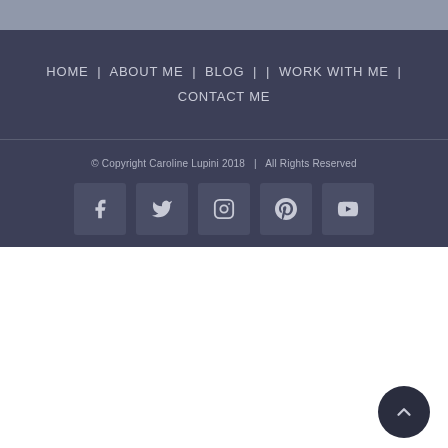HOME | ABOUT ME | BLOG | | WORK WITH ME | CONTACT ME
© Copyright Caroline Lupini 2018  |  All Rights Reserved
[Figure (infographic): Row of 5 social media icon boxes: Facebook, Twitter, Instagram, Pinterest, YouTube. A dark circular scroll-to-top button with a caret/chevron up icon is at the bottom right.]